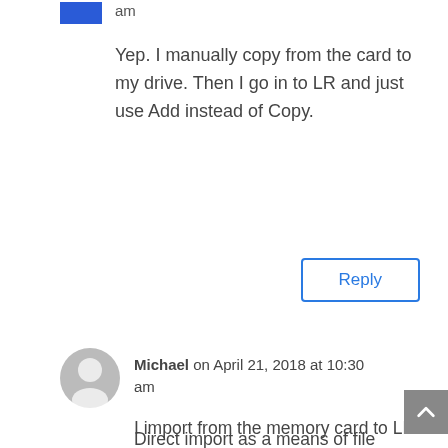[Figure (other): Blue rectangle avatar for first commenter]
am
Yep. I manually copy from the card to my drive. Then I go in to LR and just use Add instead of Copy.
Reply
[Figure (other): Gray circle avatar with person silhouette for Michael]
Michael on April 21, 2018 at 10:30 am
Direct import as a means of file organising seems to me like a long way round.
I import from the memory card to LR into a folder